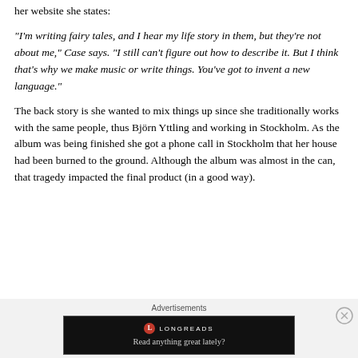her website she states:
“I’m writing fairy tales, and I hear my life story in them, but they’re not about me,” Case says. “I still can’t figure out how to describe it. But I think that’s why we make music or write things. You’ve got to invent a new language.”
The back story is she wanted to mix things up since she traditionally works with the same people, thus Björn Yttling and working in Stockholm. As the album was being finished she got a phone call in Stockholm that her house had been burned to the ground. Although the album was almost in the can, that tragedy impacted the final product (in a good way).
[Figure (other): Longreads advertisement banner: black background with Longreads logo and tagline 'Read anything great lately?']